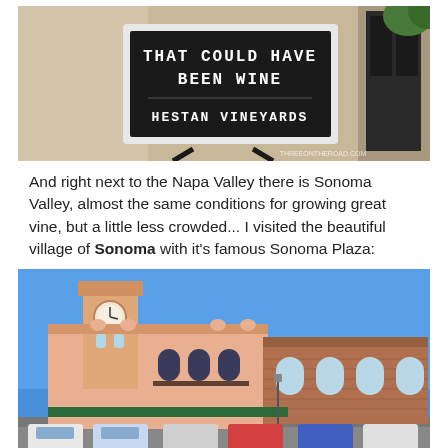[Figure (photo): A black letter board sign reading 'THAT COULD HAVE BEEN WINE' with 'HESTAN VINEYARDS' below it, placed near a doorway. Watermark reads THREEONTHEROAD.COM.]
And right next to the Napa Valley there is Sonoma Valley, almost the same conditions for growing great vine, but a little less crowded... I visited the beautiful village of Sonoma with it's famous Sonoma Plaza:
[Figure (photo): A photo of Sonoma Plaza featuring a historic pink/terracotta building with a clock tower, arched windows, and a rooftop with ornamental details under a bright blue sky. Cars are parked in front.]